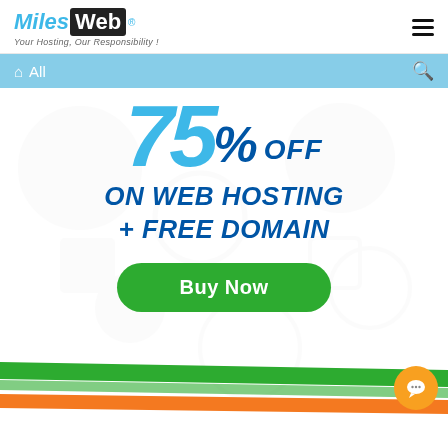[Figure (logo): MilesWeb logo with tagline 'Your Hosting, Our Responsibility!']
All
[Figure (infographic): Web hosting advertisement banner: '75% OFF on Web Hosting + Free Domain' with a green 'Buy Now' button and Indian flag stripe decoration at the bottom. Orange chat bubble in bottom right.]